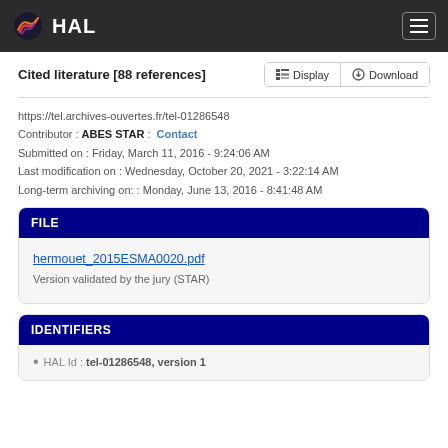HAL
Cited literature [88 references]
https://tel.archives-ouvertes.fr/tel-01286548
Contributor : ABES STAR : Contact
Submitted on : Friday, March 11, 2016 - 9:24:06 AM
Last modification on : Wednesday, October 20, 2021 - 3:22:14 AM
Long-term archiving on: : Monday, June 13, 2016 - 8:41:48 AM
FILE
hermouet_2015ESMA0020.pdf
Version validated by the jury (STAR)
IDENTIFIERS
HAL Id : tel-01286548, version 1